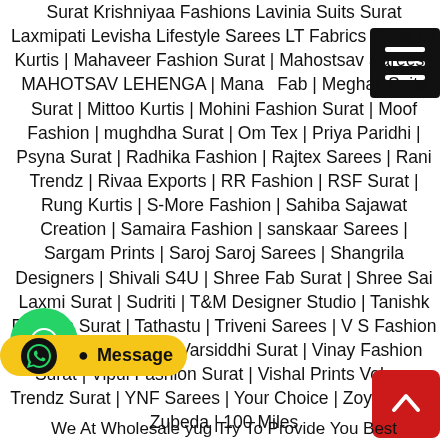Surat Krishniyaa Fashions Lavinia Suits Surat Laxmipati Levisha Lifestyle Sarees LT Fabrics Surat LT Kurtis | Mahaveer Fashion Surat | Mahostsav Sarees | MAHOTSAV LEHENGA | Manas Fab | Meghali Suits Surat | Mittoo Kurtis | Mohini Fashion Surat | Moof Fashion | mughdha Surat | Om Tex | Priya Paridhi | Psyna Surat | Radhika Fashion | Rajtex Sarees | Rani Trendz | Rivaa Exports | RR Fashion | RSF Surat | Rung Kurtis | S-More Fashion | Sahiba Sajawat Creation | Samaira Fashion | sanskaar Sarees | Sargam Prints | Saroj Saroj Sarees | Shangrila Designers | Shivali S4U | Shree Fab Surat | Shree Sai Laxmi Surat | Sudriti | T&M Designer Studio | Tanishk Fashion Surat | Tathastu | Triveni Sarees | V S Fashion | Vardan Designer | Varsiddhi Surat | Vinay Fashion Surat | Vipul Fashion Surat | Vishal Prints Volono Trendz Surat | YNF Sarees | Your Choice | Zoya Surat | Zubeda | 100 Miles
We At Wholesale yug Try To Provide You Best